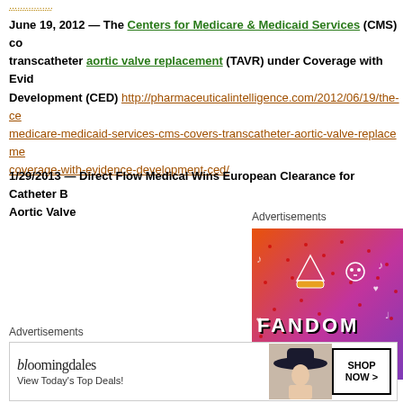June 19, 2012 — The Centers for Medicare & Medicaid Services (CMS) covers transcatheter aortic valve replacement (TAVR) under Coverage with Evidence Development (CED) http://pharmaceuticalintelligence.com/2012/06/19/the-centers-for-medicare-medicaid-services-cms-covers-transcatheter-aortic-valve-replacement-coverage-with-evidence-development-ced/
1/29/2013 — Direct Flow Medical Wins European Clearance for Catheter Based Aortic Valve
Advertisements
[Figure (illustration): Fandom on Tumblr advertisement with colorful orange-to-purple gradient background, white doodle icons, and bold white text reading FANDOM ON tumblr]
Advertisements
[Figure (illustration): Bloomingdales advertisement with logo, text View Today's Top Deals!, and SHOP NOW > button, with woman wearing large hat]